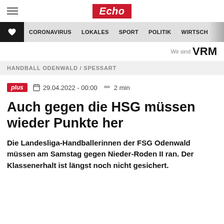Echo
CORONAVIRUS  LOKALES  SPORT  POLITIK  WIRTSCH
Wir sind VRM
HANDBALL ODENWALD / SPESSART
plus  29.04.2022 - 00:00  2 min
Auch gegen die HSG müssen wieder Punkte her
Die Landesliga-Handballerinnen der FSG Odenwald müssen am Samstag gegen Nieder-Roden II ran. Der Klassenerhalt ist längst noch nicht gesichert.